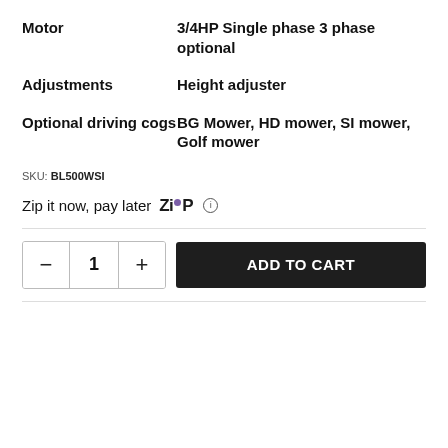| Attribute | Value |
| --- | --- |
| Motor | 3/4HP Single phase 3 phase optional |
| Adjustments | Height adjuster |
| Optional driving cogs | BG Mower, HD mower, SI mower, Golf mower |
SKU: BL500WSI
Zip it now, pay later [Zip logo] i
− 1 + ADD TO CART